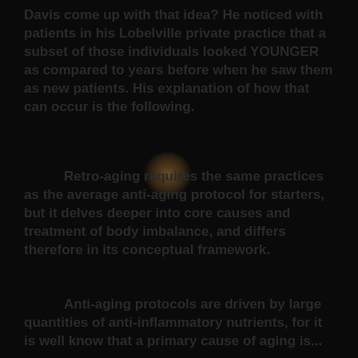Davis come up with that idea? He noticed with patients in his Lobelville private practice that a subset of those individuals looked YOUNGER as compared to years before when he saw them as new patients. His explanation of how that can occur is the following.
Retro-aging requires the same practices as the average anti-aging protocol for starters, but it delves deeper into core causes and treatment of body imbalance, and differs therefore in its conceptual framework.
Anti-aging protocols are driven by large quantities of anti-inflammatory nutrients, for it is well know that a primary cause of aging is...